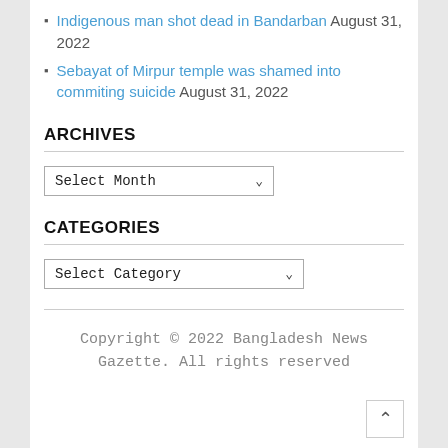Indigenous man shot dead in Bandarban August 31, 2022
Sebayat of Mirpur temple was shamed into commiting suicide August 31, 2022
ARCHIVES
Select Month
CATEGORIES
Select Category
Copyright © 2022 Bangladesh News Gazette. All rights reserved